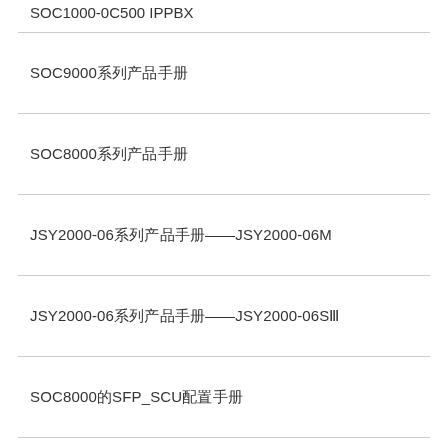SOC1000-0C500 IPPBX
SOC9000 系列产品手册
SOC8000 系列产品手册
JSY2000-06 系列产品手册——JSY2000-06M
JSY2000-06 系列产品手册——JSY2000-06S III
SOC8000 的 SFP_SCU 配置手册
SOC1000 手册